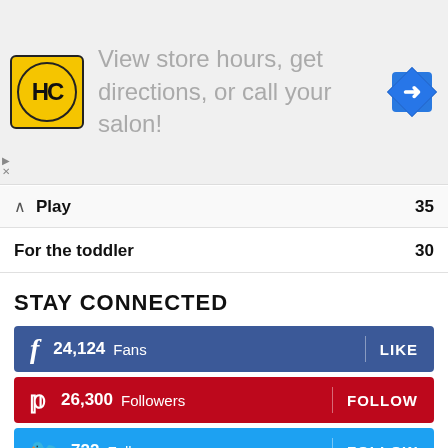[Figure (illustration): Advertisement banner with HC logo (yellow circle with HC text), ad text 'View store hours, get directions, or call your salon!', and a blue direction sign icon on the right.]
Play  35
For the toddler  30
STAY CONNECTED
24,124  Fans  LIKE
26,300  Followers  FOLLOW
722  Followers  FOLLOW
2021 © Funlittles.com. All rights reserved